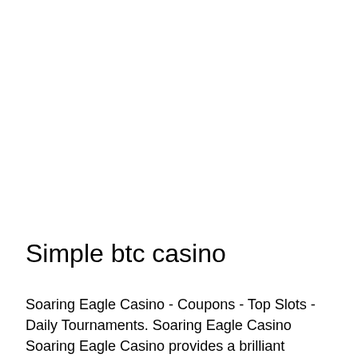Simple btc casino
Soaring Eagle Casino - Coupons - Top Slots - Daily Tournaments. Soaring Eagle Casino Soaring Eagle Casino provides a brilliant casino theme, simple btc casino. Located in the Slot Palace, the Little Eagle Cafe featur. The Little Eagle also serves several